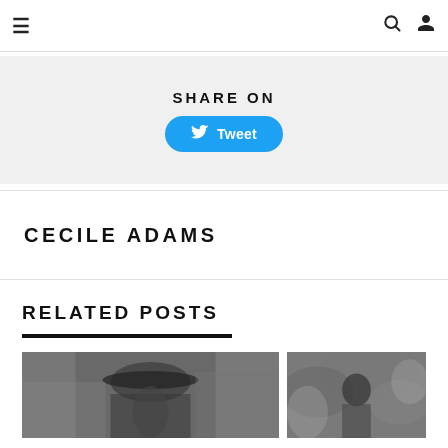☰  🔍  👤
SHARE ON
Tweet
CECILE ADAMS
RELATED POSTS
[Figure (photo): Black and white photo of a man wearing a wide-brimmed hat at what appears to be an outdoor market or stall]
[Figure (photo): Black and white photo of a person among foliage or flowers]